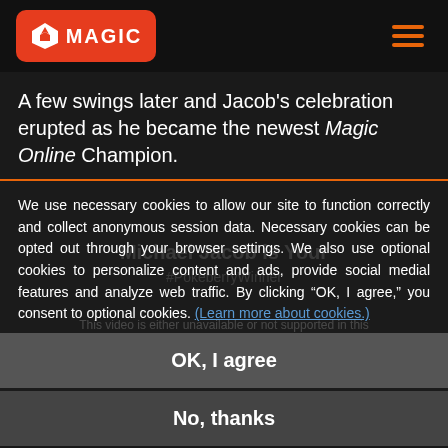[Figure (logo): Magic: The Gathering logo with red background and white planeswalker symbol]
A few swings later and Jacob's celebration erupted as he became the newest Magic Online Champion.
We use necessary cookies to allow our site to function correctly and collect anonymous session data. Necessary cookies can be opted out through your browser settings. We also use optional cookies to personalize content and ads, provide social medial features and analyze web traffic. By clicking “OK, I agree,” you consent to optional cookies. (Learn more about cookies.)
OK, I agree
No, thanks
Dealing his last swing with the game for a